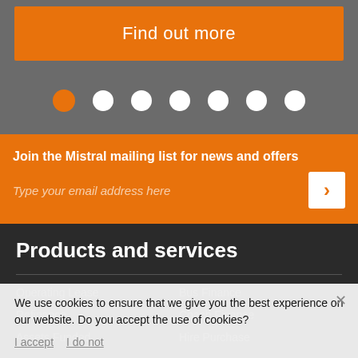Find out more
[Figure (other): Carousel navigation dots — one orange (active) and six white dots]
Join the Mistral mailing list for news and offers
Type your email address here
Products and services
Operating Lease
Bus Finance
Refinance
Coach Finance
Assets Funded
Hire Purchase
We use cookies to ensure that we give you the best experience on our website. Do you accept the use of cookies?
I accept  I do not